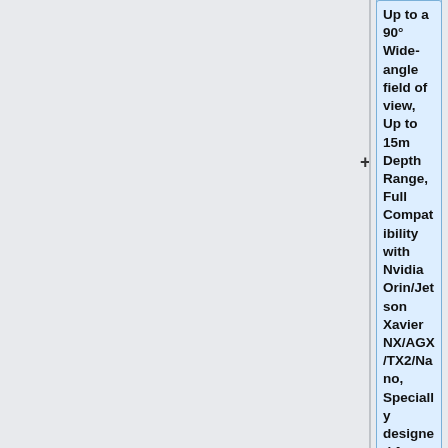Up to a 90° Wide-angle field of view, Up to 15m Depth Range, Full Compatibility with Nvidia Orin/Jetson Xavier NX/AGX/TX2/Nano, Specially designed for AR/VR Applications)
* Allied Vision MIPI CSI-2 (one open-source [https://github.com/alliedvision/linux_nvidia_jetson CSI-2